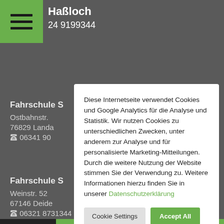Haßloch · 24 9199344
Fahrschule S
Ostbahnstr.
76829 Landa
06341 90
Fahrschule S
Weinstr. 52
67146 Deide
06321 8731344
Diese Internetseite verwendet Cookies und Google Analytics für die Analyse und Statistik. Wir nutzen Cookies zu unterschiedlichen Zwecken, unter anderem zur Analyse und für personalisierte Marketing-Mitteilungen. Durch die weitere Nutzung der Website stimmen Sie der Verwendung zu. Weitere Informationen hierzu finden Sie in unserer Datenschutzerklärung